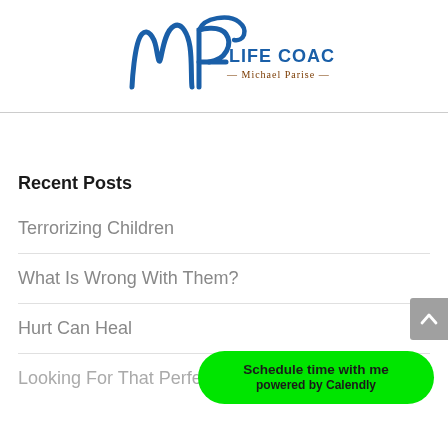[Figure (logo): MP Life Coach - Michael Parise logo with blue cursive MP letters and brown text]
Recent Posts
Terrorizing Children
What Is Wrong With Them?
Hurt Can Heal
Looking For That Perfect One